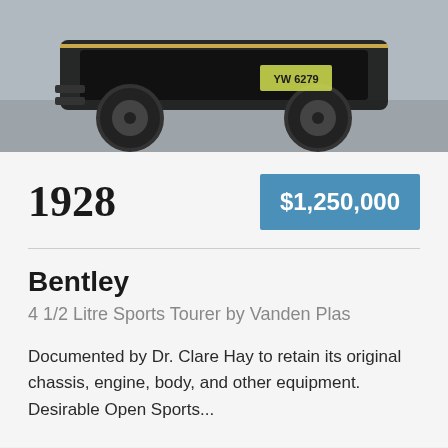[Figure (photo): Rear view of a 1928 Bentley 4 1/2 Litre Sports Tourer classic car on a road, showing large black wheels and a license plate reading YW 6279]
1928
$1,250,000
Bentley
4 1/2 Litre Sports Tourer by Vanden Plas
Documented by Dr. Clare Hay to retain its original chassis, engine, body, and other equipment. Desirable Open Sports...